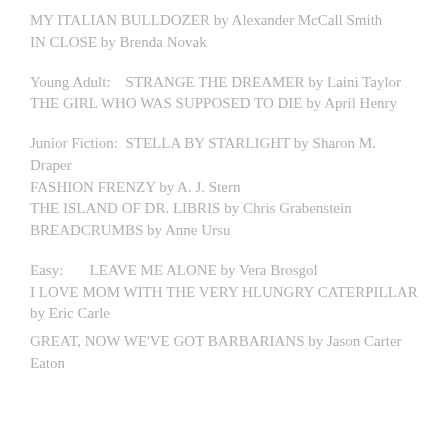MY ITALIAN BULLDOZER by Alexander McCall Smith
IN CLOSE by Brenda Novak
Young Adult:    STRANGE THE DREAMER by Laini Taylor
THE GIRL WHO WAS SUPPOSED TO DIE by April Henry
Junior Fiction:  STELLA BY STARLIGHT by Sharon M. Draper
FASHION FRENZY by A. J. Stern
THE ISLAND OF DR. LIBRIS by Chris Grabenstein
BREADCRUMBS by Anne Ursu
Easy:       LEAVE ME ALONE by Vera Brosgol
I LOVE MOM WITH THE VERY HLUNGRY CATERPILLAR by Eric Carle
GREAT, NOW WE'VE GOT BARBARIANS by Jason Carter Eaton